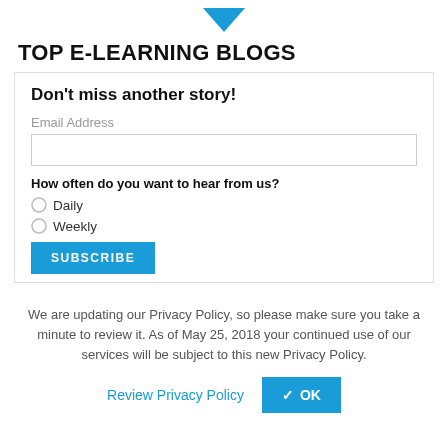[Figure (illustration): Blue downward arrow/chevron logo at top center]
TOP E-LEARNING BLOGS
Don't miss another story!
Email Address
How often do you want to hear from us?
Daily
Weekly
SUBSCRIBE
We are updating our Privacy Policy, so please make sure you take a minute to review it. As of May 25, 2018 your continued use of our services will be subject to this new Privacy Policy.
Review Privacy Policy
✔ OK